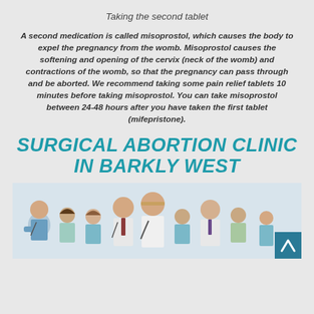Taking the second tablet
A second medication is called misoprostol, which causes the body to expel the pregnancy from the womb. Misoprostol causes the softening and opening of the cervix (neck of the womb) and contractions of the womb, so that the pregnancy can pass through and be aborted. We recommend taking some pain relief tablets 10 minutes before taking misoprostol. You can take misoprostol between 24-48 hours after you have taken the first tablet (mifepristone).
SURGICAL ABORTION CLINIC IN BARKLY WEST
[Figure (photo): Group photo of medical professionals (doctors and nurses) in scrubs and white coats, smiling, standing together]